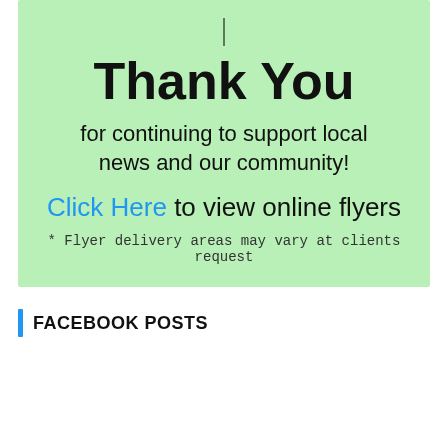[Figure (infographic): Light green promotional box with a thin vertical line at top, large bold 'Thank You' heading, supporting text about continuing to support local news and community, a blue 'Click Here' link to view online flyers, and a footnote about flyer delivery areas.]
FACEBOOK POSTS